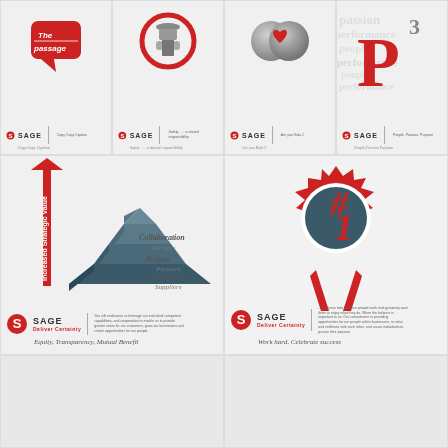[Figure (logo): The Passage logo on red speech bubble background]
[Figure (logo): Worker in hard hat inside red circle — safety/responsibility icon]
[Figure (illustration): Two grey spheres with red heart — care/partnership illustration]
[Figure (illustration): P-cubed (P3) typographic design — People, Performance, Passion]
[Figure (infographic): Pyramid infographic with red arrow: Increased Strategic Value. Three tiers: Collaboration Partners, Project Partners, Preferred Suppliers. SAGE Deliver Certainty logo. Tagline: Equity, Transparency, Mutual Benefit]
[Figure (illustration): #1 award ribbon badge on teal/dark blue background. SAGE Deliver Certainty logo. Tagline: Work hard, Celebrate success]
[Figure (other): Bottom left card — partial, light grey]
[Figure (other): Bottom right card — partial, light grey]